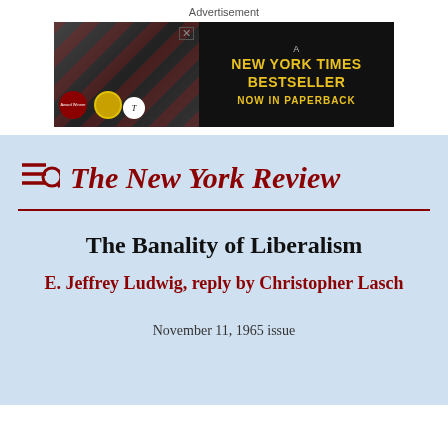Advertisement
[Figure (infographic): Book advertisement banner: A New York Times Bestseller Now in Paperback, with dark background and book cover imagery with X design, award badges]
The New York Review
The Banality of Liberalism
E. Jeffrey Ludwig, reply by Christopher Lasch
November 11, 1965 issue